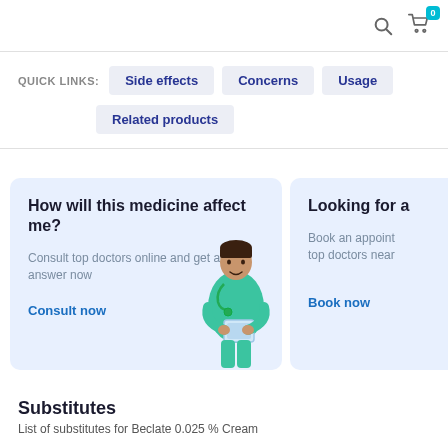Quick links: Side effects | Concerns | Usage | Related products
[Figure (infographic): Card: How will this medicine affect me? Consult top doctors online and get an answer now. Consult now. Image of a doctor in green scrubs holding a tablet.]
[Figure (infographic): Card: Looking for a... Book an appointment with top doctors near... Book now.]
Substitutes
List of substitutes for Beclate 0.025 % Cream